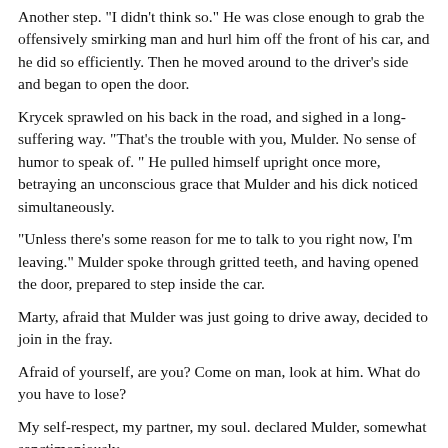Another step. "I didn't think so." He was close enough to grab the offensively smirking man and hurl him off the front of his car, and he did so efficiently. Then he moved around to the driver's side and began to open the door.
Krycek sprawled on his back in the road, and sighed in a long-suffering way. "That's the trouble with you, Mulder. No sense of humor to speak of. " He pulled himself upright once more, betraying an unconscious grace that Mulder and his dick noticed simultaneously.
"Unless there's some reason for me to talk to you right now, I'm leaving." Mulder spoke through gritted teeth, and having opened the door, prepared to step inside the car.
Marty, afraid that Mulder was just going to drive away, decided to join in the fray.
Afraid of yourself, are you? Come on man, look at him. What do you have to lose?
My self-respect, my partner, my soul. declared Mulder, somewhat sanctimoniously.
Marty sniggered rudely. Your hard-on?